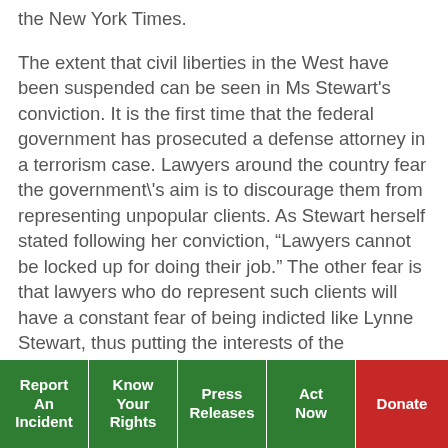the New York Times.
The extent that civil liberties in the West have been suspended can be seen in Ms Stewart's conviction. It is the first time that the federal government has prosecuted a defense attorney in a terrorism case. Lawyers around the country fear the government\'s aim is to discourage them from representing unpopular clients. As Stewart herself stated following her conviction, “Lawyers cannot be locked up for doing their job.” The other fear is that lawyers who do represent such clients will have a constant fear of being indicted like Lynne Stewart, thus putting the interests of the government ahead
Report An Incident | Know Your Rights | Press Releases | Act Now | Donate